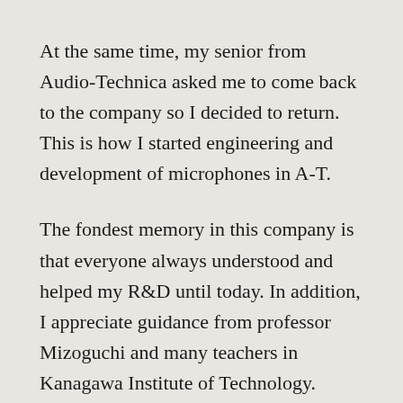At the same time, my senior from Audio-Technica asked me to come back to the company so I decided to return. This is how I started engineering and development of microphones in A-T.
The fondest memory in this company is that everyone always understood and helped my R&D until today. In addition, I appreciate guidance from professor Mizoguchi and many teachers in Kanagawa Institute of Technology.
The nineties were a period of rapid advancement, not only for A-T, but for